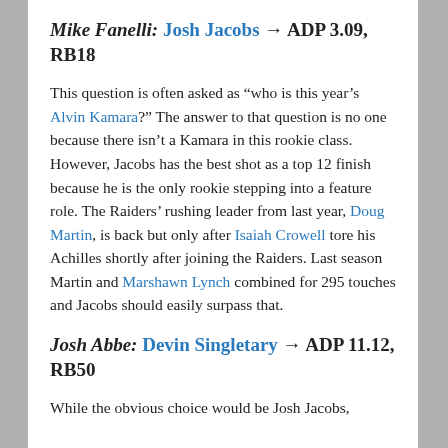Mike Fanelli: Josh Jacobs → ADP 3.09, RB18
This question is often asked as “who is this year’s Alvin Kamara?” The answer to that question is no one because there isn’t a Kamara in this rookie class. However, Jacobs has the best shot as a top 12 finish because he is the only rookie stepping into a feature role. The Raiders’ rushing leader from last year, Doug Martin, is back but only after Isaiah Crowell tore his Achilles shortly after joining the Raiders. Last season Martin and Marshawn Lynch combined for 295 touches and Jacobs should easily surpass that.
Josh Abbe: Devin Singletary → ADP 11.12, RB50
While the obvious choice would be Josh Jacobs,